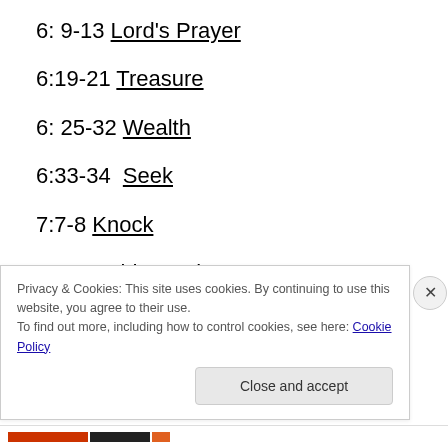6: 9-13 Lord's Prayer
6:19-21 Treasure
6: 25-32 Wealth
6:33-34  Seek
7:7-8 Knock
7: 12 Golden Rule
7:13-21 False/Lord, Lord
Privacy & Cookies: This site uses cookies. By continuing to use this website, you agree to their use.
To find out more, including how to control cookies, see here: Cookie Policy